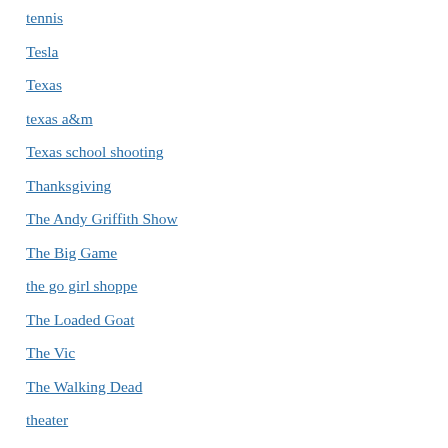tennis
Tesla
Texas
texas a&m
Texas school shooting
Thanksgiving
The Andy Griffith Show
The Big Game
the go girl shoppe
The Loaded Goat
The Vic
The Walking Dead
theater
theft
Thom Tillis